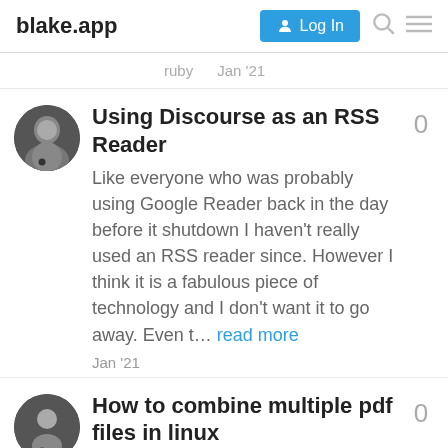blake.app
ruby   Jan '21
Using Discourse as an RSS Reader
Like everyone who was probably using Google Reader back in the day before it shutdown I haven't really used an RSS reader since. However I think it is a fabulous piece of technology and I don't want it to go away. Even t… read more
Jan '21
How to combine multiple pdf files in linux